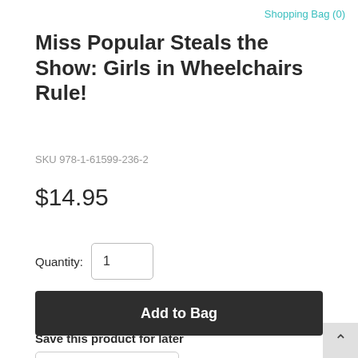Shopping Bag (0)
Miss Popular Steals the Show: Girls in Wheelchairs Rule!
SKU 978-1-61599-236-2
$14.95
Quantity: 1
Add to Bag
Save this product for later
Favorite